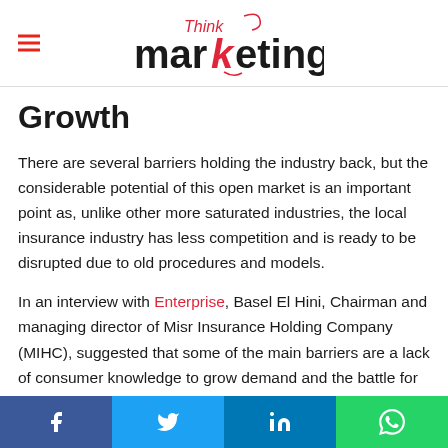Think marketing
Growth
There are several barriers holding the industry back, but the considerable potential of this open market is an important point as, unlike other more saturated industries, the local insurance industry has less competition and is ready to be disrupted due to old procedures and models.
In an interview with Enterprise, Basel El Hini, Chairman and managing director of Misr Insurance Holding Company (MIHC), suggested that some of the main barriers are a lack of consumer knowledge to grow demand and the battle for market share in a small market rather than expanding it.
Facebook | Twitter | LinkedIn | WhatsApp